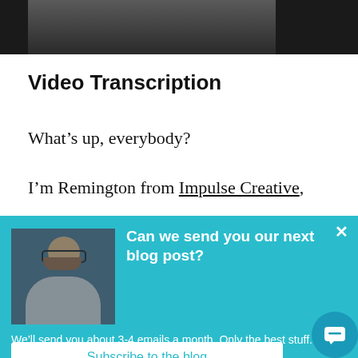[Figure (photo): Dark header bar with partial photo of person at top of page]
Video Transcription
What’s up, everybody?
I’m Remington from Impulse Creative,
[Figure (screenshot): Teal popup overlay with photo of smiling man with glasses, title 'Can we send you our next blog post?', body text 'We’ll send you about 3-4 emails a month. Only the best stuff.', and a Subscribe to the blog button]
Can we send you our next blog post?
We’ll send you about 3-4 emails a month. Only the best stuff.
Subscribe to the blog